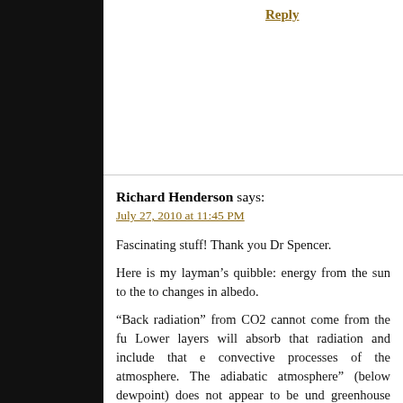Reply
Richard Henderson says:
July 27, 2010 at 11:45 PM
Fascinating stuff! Thank you Dr Spencer.
Here is my layman’s quibble: energy from the sun to the to changes in albedo.
“Back radiation” from CO2 cannot come from the fu Lower layers will absorb that radiation and include that e convective processes of the atmosphere. The adiabatic atmosphere” (below dewpoint) does not appear to be und greenhouse gases.
I accept (always have) that back radiation from the REDUCE the rate of cooling of the surface, but when thes